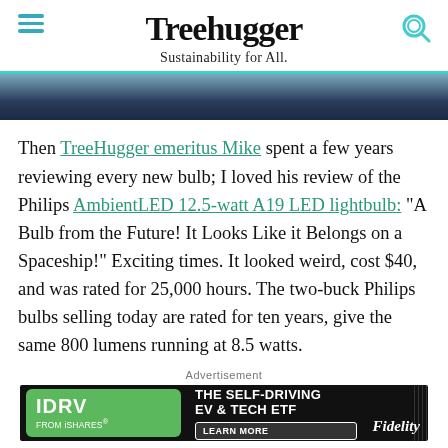Treehugger
Sustainability for All.
[Figure (photo): Dark blue textured banner image at top of article]
Then TreeHugger emeritus Mike spent a few years reviewing every new bulb; I loved his review of the Philips AmbientLED 12.5-watt A19 LED lightbulb: “A Bulb from the Future! It Looks Like it Belongs on a Spaceship!” Exciting times. It looked weird, cost $40, and was rated for 25,000 hours. The two-buck Philips bulbs selling today are rated for ten years, give the same 800 lumens running at 8.5 watts.
Advertisement
[Figure (other): IDRV from iShares advertisement banner: THE SELF-DRIVING EV & TECH ETF, LEARN MORE, Fidelity]